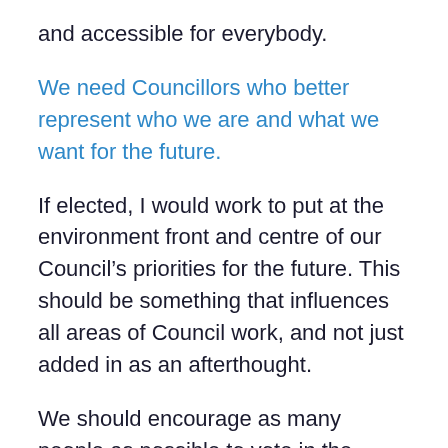and accessible for everybody.
We need Councillors who better represent who we are and what we want for the future.
If elected, I would work to put at the environment front and centre of our Council's priorities for the future. This should be something that influences all areas of Council work, and not just added in as an afterthought.
We should encourage as many people as possible to vote in the election this Thursday. If we don't vote, we make our Councillors less accountable for